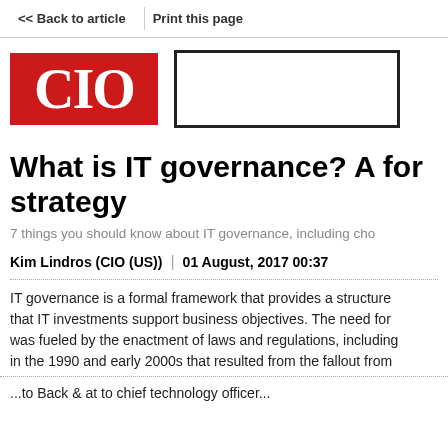<< Back to article | Print this page
[Figure (logo): CIO magazine red logo with white 'CIO' text]
[Figure (other): Empty advertisement box with black border]
What is IT governance? A for strategy
7 things you should know about IT governance, including cho
Kim Lindros (CIO (US)) | 01 August, 2017 00:37
IT governance is a formal framework that provides a structure that IT investments support business objectives. The need for was fueled by the enactment of laws and regulations, including in the 1990 and early 2000s that resulted from the fallout from
...to Back 8 at to chief technology officer...